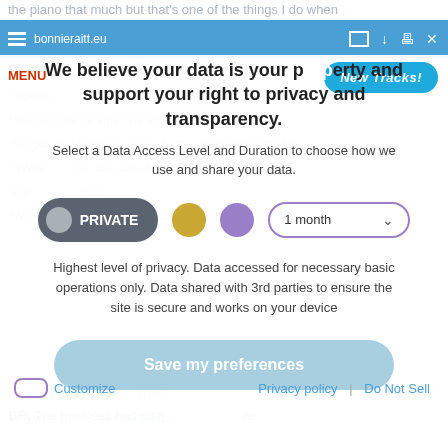the piano that much but that's one of the things I do when
bonnieraitt.eu
MENU
[Figure (screenshot): New Tracks! button in blue rounded rectangle]
We believe your data is your property and support your right to privacy and transparency.
Select a Data Access Level and Duration to choose how we use and share your data.
[Figure (infographic): Privacy controls row: PRIVATE toggle button (dark grey with circle), gold dot, purple dot, and 1 month dropdown selector]
Highest level of privacy. Data accessed for necessary basic operations only. Data shared with 3rd parties to ensure the site is secure and works on your device
[Figure (screenshot): Save my preferences button (light blue rounded rectangle)]
Customize
Privacy policy | Do Not Sell
BR: The business has char                               re